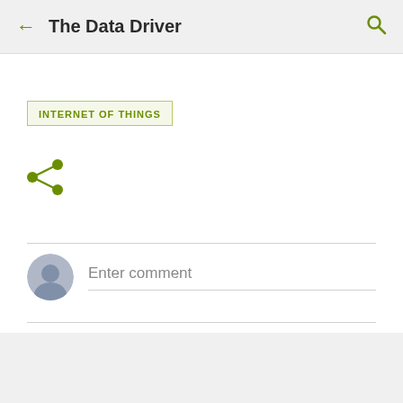← The Data Driver
INTERNET OF THINGS
[Figure (illustration): Green share icon (three connected dots with lines)]
Enter comment